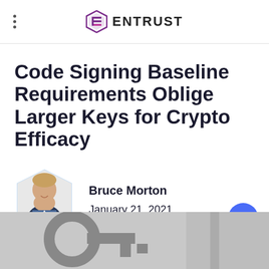ENTRUST
Code Signing Baseline Requirements Oblige Larger Keys for Crypto Efficacy
Bruce Morton
January 21, 2021
[Figure (photo): Partial photograph at the bottom of the page showing blurred keys or equipment background]